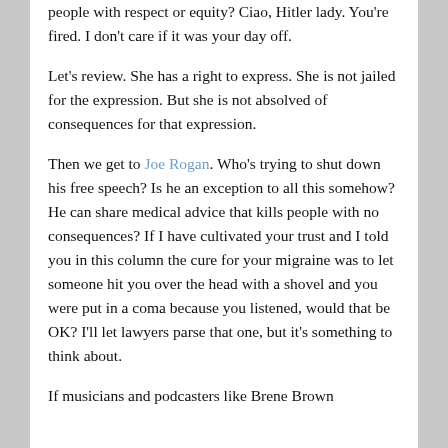people with respect or equity? Ciao, Hitler lady. You're fired. I don't care if it was your day off.
Let's review. She has a right to express. She is not jailed for the expression. But she is not absolved of consequences for that expression.
Then we get to Joe Rogan. Who's trying to shut down his free speech? Is he an exception to all this somehow? He can share medical advice that kills people with no consequences? If I have cultivated your trust and I told you in this column the cure for your migraine was to let someone hit you over the head with a shovel and you were put in a coma because you listened, would that be OK? I'll let lawyers parse that one, but it's something to think about.
If musicians and podcasters like Brene Brown